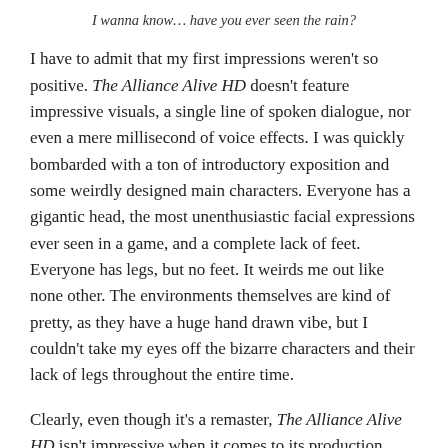I wanna know… have you ever seen the rain?
I have to admit that my first impressions weren't so positive. The Alliance Alive HD doesn't feature impressive visuals, a single line of spoken dialogue, nor even a mere millisecond of voice effects. I was quickly bombarded with a ton of introductory exposition and some weirdly designed main characters. Everyone has a gigantic head, the most unenthusiastic facial expressions ever seen in a game, and a complete lack of feet. Everyone has legs, but no feet. It weirds me out like none other. The environments themselves are kind of pretty, as they have a huge hand drawn vibe, but I couldn't take my eyes off the bizarre characters and their lack of legs throughout the entire time.
Clearly, even though it's a remaster, The Alliance Alive HD isn't impressive when it comes to its production values.